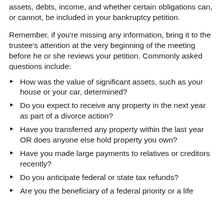assets, debts, income, and whether certain obligations can, or cannot, be included in your bankruptcy petition.
Remember, if you’re missing any information, bring it to the trustee’s attention at the very beginning of the meeting before he or she reviews your petition. Commonly asked questions include:
How was the value of significant assets, such as your house or your car, determined?
Do you expect to receive any property in the next year as part of a divorce action?
Have you transferred any property within the last year OR does anyone else hold property you own?
Have you made large payments to relatives or creditors recently?
Do you anticipate federal or state tax refunds?
Are you the beneficiary of a federal priority or a life...